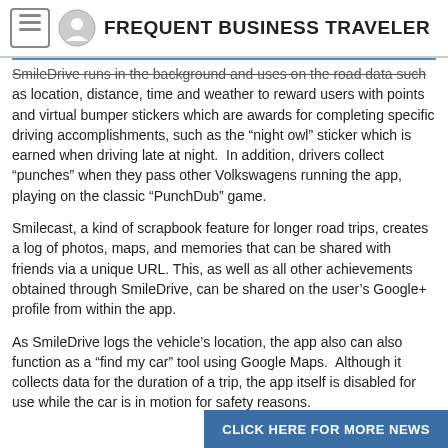FREQUENT BUSINESS TRAVELER
SmileDrive runs in the background and uses on the road data such as location, distance, time and weather to reward users with points and virtual bumper stickers which are awards for completing specific driving accomplishments, such as the “night owl” sticker which is earned when driving late at night.  In addition, drivers collect “punches” when they pass other Volkswagens running the app, playing on the classic “PunchDub” game.
Smilecast, a kind of scrapbook feature for longer road trips, creates a log of photos, maps, and memories that can be shared with friends via a unique URL. This, as well as all other achievements obtained through SmileDrive, can be shared on the user’s Google+ profile from within the app.
As SmileDrive logs the vehicle’s location, the app also can also function as a “find my car” tool using Google Maps.  Although it collects data for the duration of a trip, the app itself is disabled for use while the car is in motion for safety reasons.
CLICK HERE FOR MORE NEWS